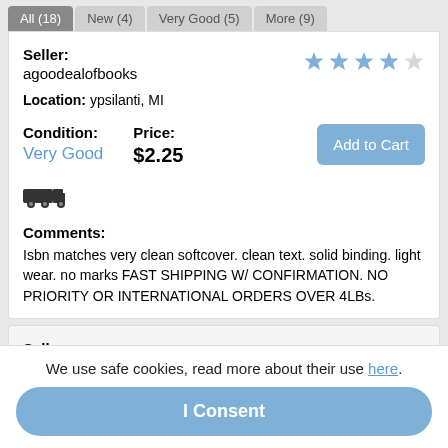All (18)  New (4)  Very Good (5)  More (9)
Seller: agoodealofbooks
Location: ypsilanti, MI
Condition: Very Good
Price: $2.25
Comments: Isbn matches very clean softcover. clean text. solid binding. light wear. no marks FAST SHIPPING W/ CONFIRMATION. NO PRIORITY OR INTERNATIONAL ORDERS OVER 4LBs.
Seller: Housing Works Online Bookstore
We use safe cookies, read more about their use here.
I Consent